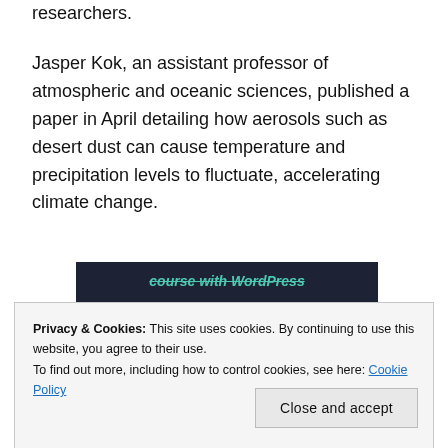researchers.
Jasper Kok, an assistant professor of atmospheric and oceanic sciences, published a paper in April detailing how aerosols such as desert dust can cause temperature and precipitation levels to fluctuate, accelerating climate change.
[Figure (screenshot): Dark navy advertisement banner showing text 'course with WordPress' in teal italic font with a 'Learn More' teal button below.]
Privacy & Cookies: This site uses cookies. By continuing to use this website, you agree to their use.
To find out more, including how to control cookies, see here: Cookie Policy
Close and accept